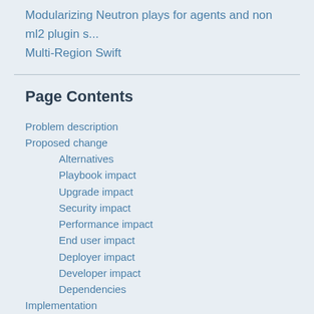Modularizing Neutron plays for agents and non ml2 plugin s...
Multi-Region Swift
Page Contents
Problem description
Proposed change
Alternatives
Playbook impact
Upgrade impact
Security impact
Performance impact
End user impact
Deployer impact
Developer impact
Dependencies
Implementation
Assignee(s)
Work items
Testing
Documentation impact
Refer...